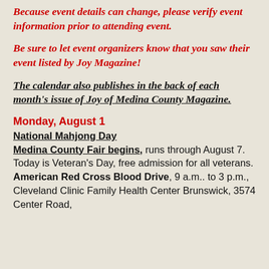Because event details can change, please verify event information prior to attending event.
Be sure to let event organizers know that you saw their event listed by Joy Magazine!
The calendar also publishes in the back of each month's issue of Joy of Medina County Magazine.
Monday, August 1
National Mahjong Day
Medina County Fair begins, runs through August 7. Today is Veteran's Day, free admission for all veterans.
American Red Cross Blood Drive, 9 a.m.. to 3 p.m., Cleveland Clinic Family Health Center Brunswick, 3574 Center Road,